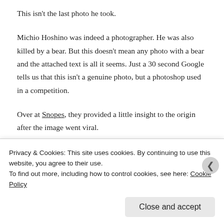This isn't the last photo he took.
Michio Hoshino was indeed a photographer. He was also killed by a bear. But this doesn't mean any photo with a bear and the attached text is all it seems. Just a 30 second Google tells us that this isn't a genuine photo, but a photoshop used in a competition.
Over at Snopes, they provided a little insight to the origin after the image went viral.
It's an entry from a Worth1000 Photoshop
Privacy & Cookies: This site uses cookies. By continuing to use this website, you agree to their use.
To find out more, including how to control cookies, see here: Cookie Policy